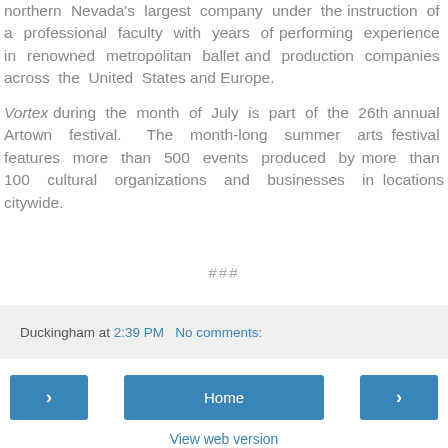northern Nevada's largest company under the instruction of a professional faculty with years of performing experience in renowned metropolitan ballet and production companies across the United States and Europe.

Vortex during the month of July is part of the 26th annual Artown festival. The month-long summer arts festival features more than 500 events produced by more than 100 cultural organizations and businesses in locations citywide.
###
Duckingham at 2:39 PM   No comments:
< Home > View web version